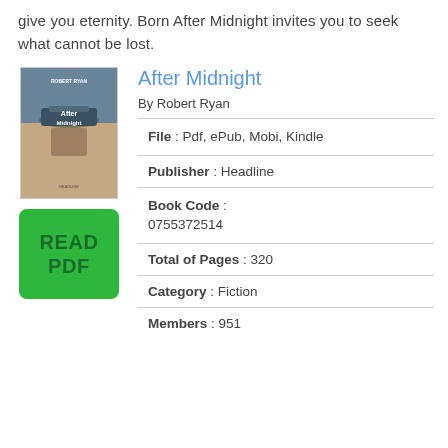give you eternity. Born After Midnight invites you to seek what cannot be lost.
After Midnight
By Robert Ryan
[Figure (illustration): Book cover for 'After Midnight' by Robert Ryan, showing a wartime scene]
[Figure (other): Green READ PDF button]
File : Pdf, ePub, Mobi, Kindle
Publisher : Headline
Book Code : 0755372514
Total of Pages : 320
Category : Fiction
Members : 951